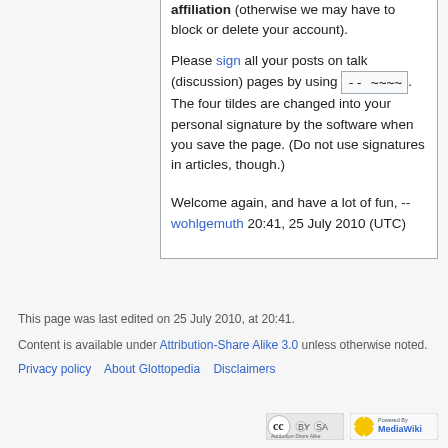affiliation (otherwise we may have to block or delete your account). Please sign all your posts on talk (discussion) pages by using -- ~~~~. The four tildes are changed into your personal signature by the software when you save the page. (Do not use signatures in articles, though.)
Welcome again, and have a lot of fun, -- wohlgemuth 20:41, 25 July 2010 (UTC)
This page was last edited on 25 July 2010, at 20:41.
Content is available under Attribution-Share Alike 3.0 unless otherwise noted.
Privacy policy  About Glottopedia  Disclaimers